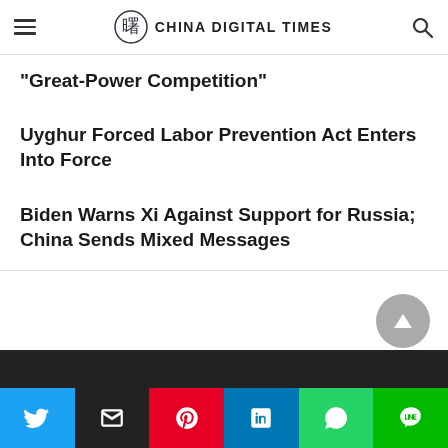CHINA DIGITAL TIMES
“Great-Power Competition”
Uyghur Forced Labor Prevention Act Enters Into Force
Biden Warns Xi Against Support for Russia; China Sends Mixed Messages